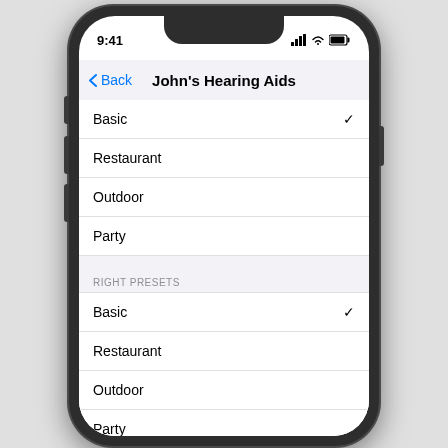[Figure (screenshot): iPhone X screenshot showing 'John's Hearing Aids' settings screen with hearing preset options listed under left and right presets. Left presets: Basic (checked), Restaurant, Outdoor, Party. Right Presets section: Basic (checked), Restaurant, Outdoor, Party. 'Start Live Listen' button at bottom.]